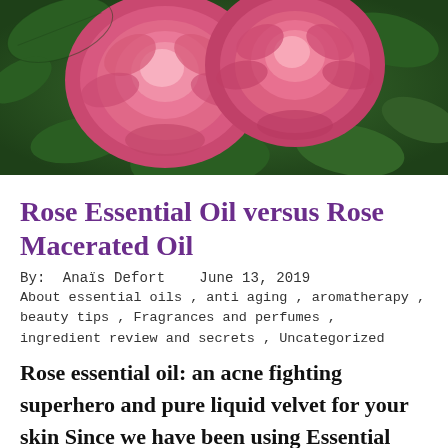[Figure (photo): Close-up photograph of pink roses in full bloom with dark green leaves in the background]
Rose Essential Oil versus Rose Macerated Oil
By:  Anaïs Defort   June 13, 2019
About essential oils , anti aging , aromatherapy , beauty tips , Fragrances and perfumes , ingredient review and secrets , Uncategorized
Rose essential oil: an acne fighting superhero and pure liquid velvet for your skin Since we have been using Essential Oils and botanical/plant based